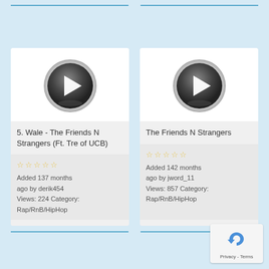[Figure (screenshot): Music listing card 1: Play button icon for '5. Wale - The Friends N Strangers (Ft. Tre of UCB)'. Stars rating, Added 137 months ago by derik454, Views: 224 Category: Rap/RnB/HipHop]
[Figure (screenshot): Music listing card 2: Play button icon for 'The Friends N Strangers'. Stars rating, Added 142 months ago by jword_11, Views: 857 Category: Rap/RnB/HipHop]
[Figure (other): reCAPTCHA Privacy - Terms badge in bottom right corner]